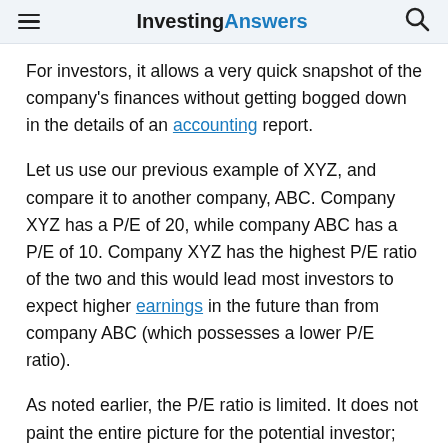InvestingAnswers
For investors, it allows a very quick snapshot of the company's finances without getting bogged down in the details of an accounting report.
Let us use our previous example of XYZ, and compare it to another company, ABC. Company XYZ has a P/E of 20, while company ABC has a P/E of 10. Company XYZ has the highest P/E ratio of the two and this would lead most investors to expect higher earnings in the future than from company ABC (which possesses a lower P/E ratio).
As noted earlier, the P/E ratio is limited. It does not paint the entire picture for the potential investor; rather it is a complementary tool in your financial toolbox. Be wary of forward EPS measures. (remember, EPS is an essential